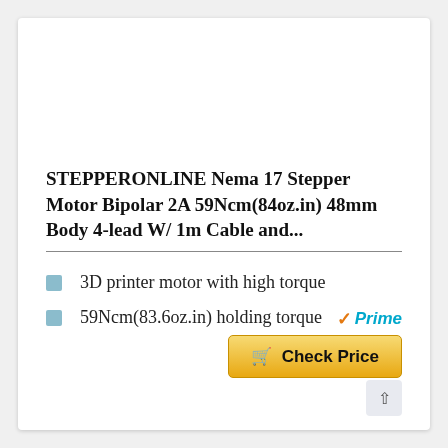STEPPERONLINE Nema 17 Stepper Motor Bipolar 2A 59Ncm(84oz.in) 48mm Body 4-lead W/ 1m Cable and...
3D printer motor with high torque
59Ncm(83.6oz.in) holding torque